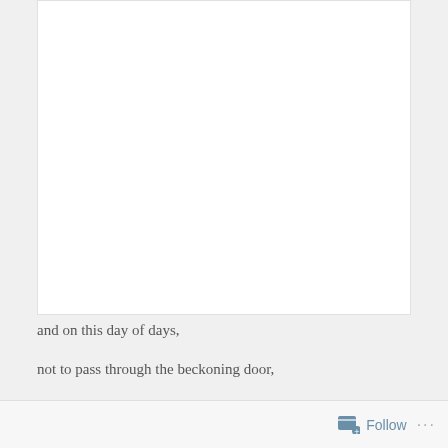[Figure (other): White rectangular card area at the top of the page, mostly blank/white space]
and on this day of days,
not to pass through the beckoning door,
not to let their careful footsteps drum
old echoes from the wooden floor
would deny the pattern of their ways
and all the times that they have come before.
Follow ...